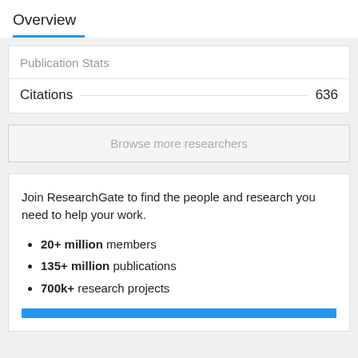Overview
Publication Stats
Citations 636
Browse more researchers
Join ResearchGate to find the people and research you need to help your work.
20+ million members
135+ million publications
700k+ research projects